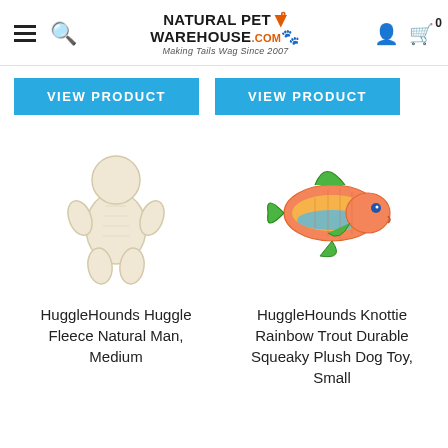Natural Pet Warehouse .com — Making Tails Wag Since 2007
VIEW PRODUCT
VIEW PRODUCT
[Figure (photo): HuggleHounds Huggle Fleece Natural Man plush dog toy, cream/white gingerbread-man shape]
[Figure (photo): HuggleHounds Knottie Rainbow Trout Durable Squeaky Plush Dog Toy, colorful fish shape with green fins]
HuggleHounds Huggle Fleece Natural Man, Medium
HuggleHounds Knottie Rainbow Trout Durable Squeaky Plush Dog Toy, Small